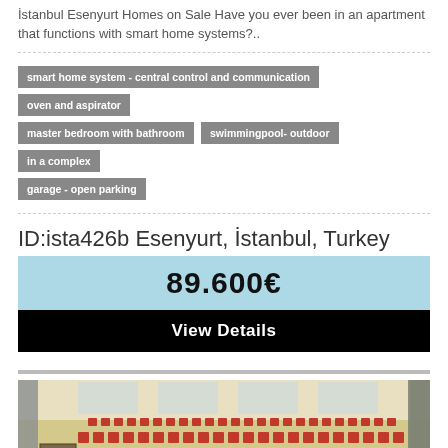İstanbul Esenyurt Homes on Sale Have you ever been in an apartment that functions with smart home systems?..
smart home system - central control and communication
oven and aspirator
master bedroom with bathroom
swimmingpool- outdoor
in a complex
garage - open parking
ID:ista426b Esenyurt, İstanbul, Turkey
89.600€
View Details
[Figure (photo): Interior photo of an auditorium or conference hall with rows of red/orange upholstered seats, a podium/lectern in the foreground, and light-colored walls with large windows in the background.]